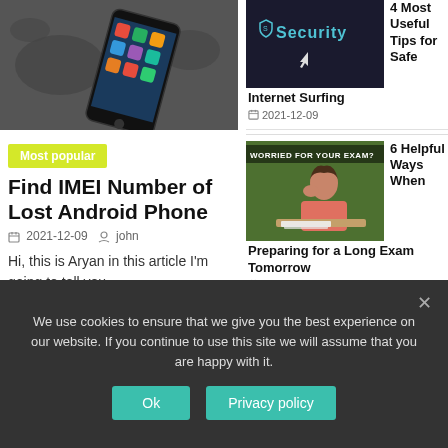[Figure (photo): Android smartphone on a world map background]
Most popular
Find IMEI Number of Lost Android Phone
2021-12-09   john
Hi, this is Aryan in this article I'm going to tell you
[Figure (photo): Security text on dark background with cursor icon]
4 Most Useful Tips for Safe Internet Surfing
2021-12-09
[Figure (photo): Student studying with text WORRIED FOR YOUR EXAM?]
6 Helpful Ways When Preparing for a Long Exam Tomorrow
2021-12-09
We use cookies to ensure that we give you the best experience on our website. If you continue to use this site we will assume that you are happy with it.